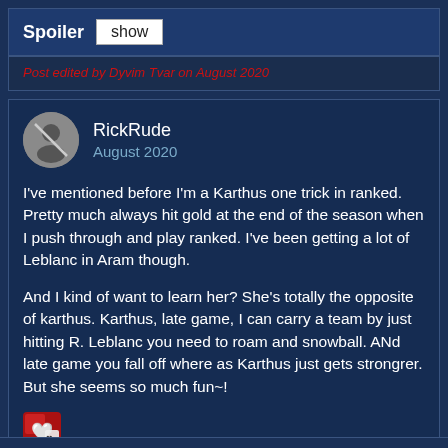Spoiler  show
Post edited by Dyvim Tvar on August 2020
RickRude
August 2020
I've mentioned before I'm a Karthus one trick in ranked. Pretty much always hit gold at the end of the season when I push through and play ranked. I've been getting a lot of Leblanc in Aram though.
And I kind of want to learn her? She's totally the opposite of karthus. Karthus, late game, I can carry a team by just hitting R. Leblanc you need to roam and snowball. ANd late game you fall off where as Karthus just gets strongrer. But she seems so much fun~!
[Figure (illustration): Small reaction icon showing a heart/like emoji on a dark red/brown background]